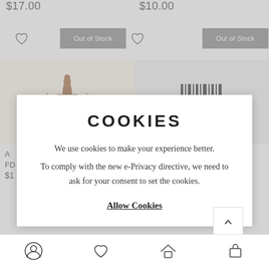$17.00
$10.00
[Figure (screenshot): E-commerce product listing page showing two product items with 'Out of Stock' buttons, heart/wishlist icons, product images (fleur-de-lis logo and barcode icon), partial product info, and a cookie consent modal overlay reading 'COOKIES - We use cookies to make your experience better. To comply with the new e-Privacy directive, we need to ask for your consent to set the cookies. Allow Cookies'. Bottom navigation bar with account, wishlist, home, and cart icons.]